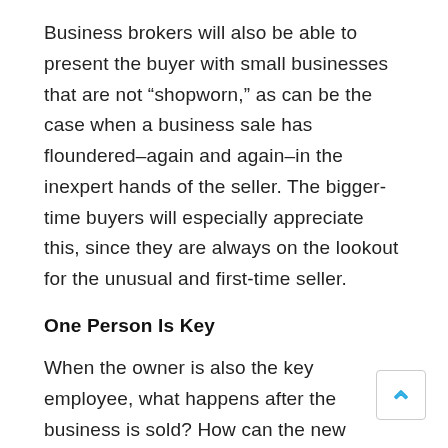Business brokers will also be able to present the buyer with small businesses that are not “shopworn,” as can be the case when a business sale has floundered–again and again–in the inexpert hands of the seller. The bigger-time buyers will especially appreciate this, since they are always on the lookout for the unusual and first-time seller.
One Person Is Key
When the owner is also the key employee, what happens after the business is sold? How can the new owners/investors hope to replace the one person who has essentially been the business? This traditional concern paints a far too gloomy–